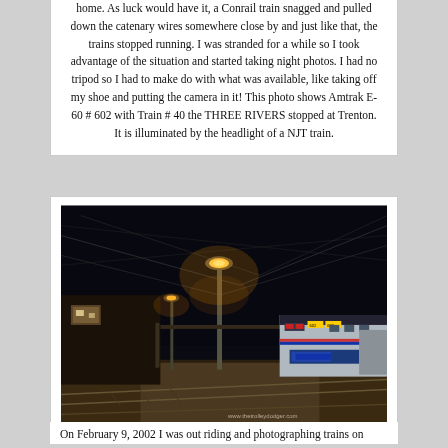home. As luck would have it, a Conrail train snagged and pulled down the catenary wires somewhere close by and just like that, the trains stopped running. I was stranded for a while so I took advantage of the situation and started taking night photos. I had no tripod so I had to make do with what was available, like taking off my shoe and putting the camera in it! This photo shows Amtrak E-60 # 602 with Train # 40 the THREE RIVERS stopped at Trenton. It is illuminated by the headlight of a NJT train.
[Figure (photo): Night photo of Trenton train station platform showing Amtrak E-60 #602 locomotive with Train #40 the THREE RIVERS stopped at Trenton station, illuminated by NJT headlight. A tall platform lamp glows orange in the center, catenary wires overhead, dark sky background. Watermark: www.thetrolleydodger.com]
On February 9, 2002 I was out riding and photographing trains on